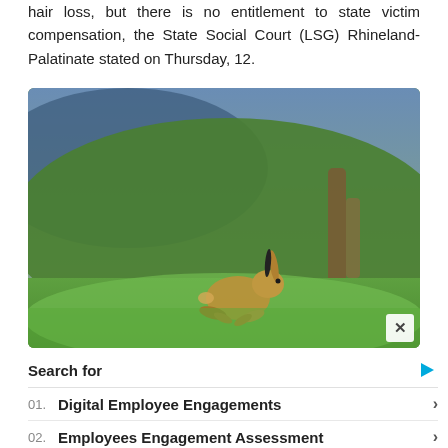hair loss, but there is no entitlement to state victim compensation, the State Social Court (LSG) Rhineland-Palatinate stated on Thursday, 12.
[Figure (photo): A brown hare running across a green grassy field with blurred green and brown tree background.]
Search for
01. Digital Employee Engagements
02. Employees Engagement Assessment
Yahoo! Search | Sponsored